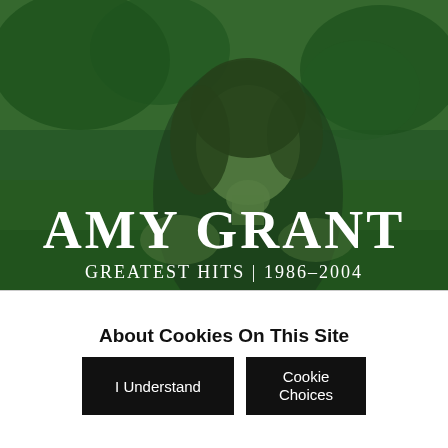[Figure (photo): Album cover for Amy Grant Greatest Hits 1986-2004. Green-tinted photo of Amy Grant posing outdoors. Large white serif text reads AMY GRANT with smaller text GREATEST HITS | 1986-2004.]
×
About Cookies On This Site
I Understand
Cookie Choices